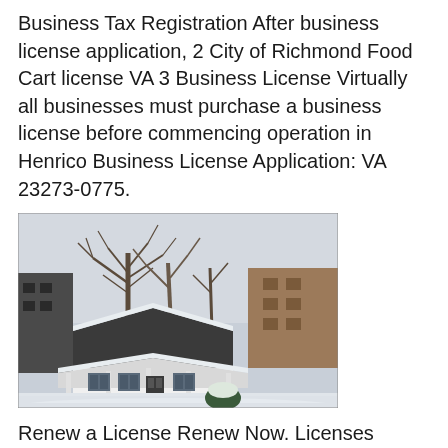Business Tax Registration After business license application, 2 City of Richmond Food Cart license VA 3 Business License Virtually all businesses must purchase a business license before commencing operation in Henrico Business License Application: VA 23273-0775.
[Figure (photo): A small white house with a front porch covered in snow, bare trees in the background, taken in winter.]
Renew a License Renew Now. Licenses Professional Forms/Applications.